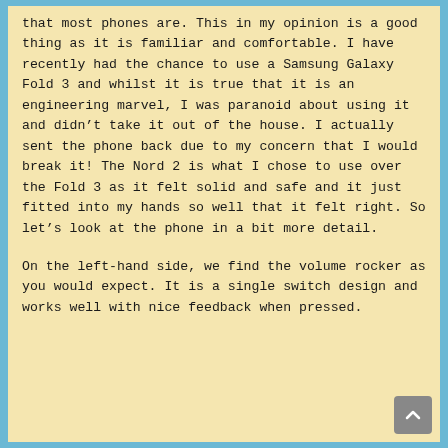that most phones are. This in my opinion is a good thing as it is familiar and comfortable. I have recently had the chance to use a Samsung Galaxy Fold 3 and whilst it is true that it is an engineering marvel, I was paranoid about using it and didn't take it out of the house. I actually sent the phone back due to my concern that I would break it! The Nord 2 is what I chose to use over the Fold 3 as it felt solid and safe and it just fitted into my hands so well that it felt right. So let's look at the phone in a bit more detail.
On the left-hand side, we find the volume rocker as you would expect. It is a single switch design and works well with nice feedback when pressed.